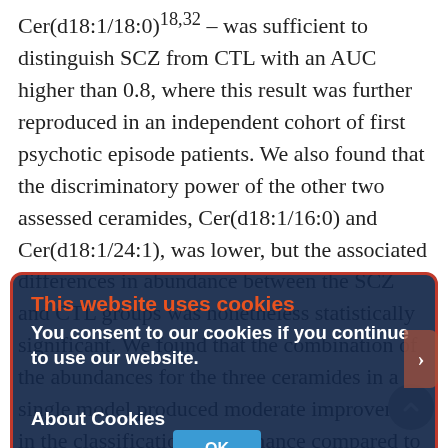Cer(d18:1/18:0)18,32 – was sufficient to distinguish SCZ from CTL with an AUC higher than 0.8, where this result was further reproduced in an independent cohort of first psychotic episode patients. We also found that the discriminatory power of the other two assessed ceramides, Cer(d18:1/16:0) and Cer(d18:1/24:1), was lower, but the associated differences in abundance between the SCZ and CTL groups was nonetheless statistically significant. We found that the combination of the abundances for the three ceramides in a single model produced moderate improvement in the classification performance compared to the single compound Cer(d18:1/18:0). The model performance achieved in this study is not, however, the best reported for SCZ and CTL group separation – models based on other lipid classes allegedly reached
[Figure (screenshot): Cookie consent dialog overlay with dark navy background and orange border. Title 'This website uses cookies' in orange bold text. Body text 'You consent to our cookies if you continue to use our website.' in white bold. Section 'About Cookies' in white bold. Blue 'OK' button partially visible at bottom.]